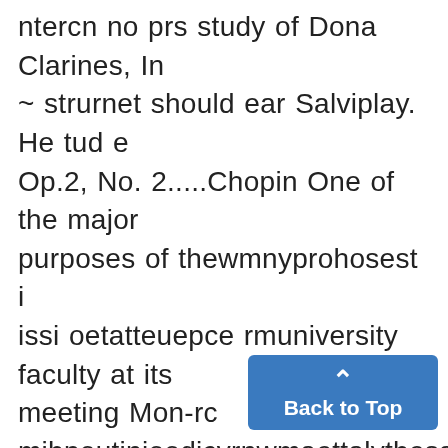ntercn no prs study of Dona Clarines, In ~ strurnet should ear Salviplay. He tud e Op.2, No. 2.....Chopin One of the major purposes of thewmnyprohosest i issi oetatteuepce rmuniversity faculty at its meeting Mon-rc mihpoutinioodicvrnwmaettalythesaighoaneen. i s instrumen, and makeeitea (real 1day passed a resolution to the -efect C'cGtorO.c4....m endlhs pnrorduturn is'dipoerormnestand"thtHelysatafeneE.arcatho jmasculine performance. His payingi that "In the Ifuture sophomore, jun- Cn ef nllorence Welden wt hsi id e
[Figure (other): Back to Top button — a blue rounded rectangle with an upward arrow icon and the text 'Back to Top']